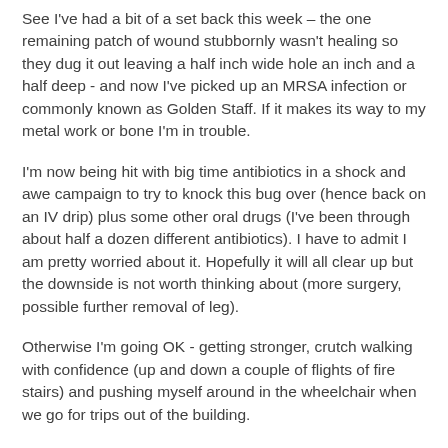See I've had a bit of a set back this week – the one remaining patch of wound stubbornly wasn't healing so they dug it out leaving a half inch wide hole an inch and a half deep - and now I've picked up an MRSA infection or commonly known as Golden Staff. If it makes its way to my metal work or bone I'm in trouble.
I'm now being hit with big time antibiotics in a shock and awe campaign to try to knock this bug over (hence back on an IV drip) plus some other oral drugs (I've been through about half a dozen different antibiotics). I have to admit I am pretty worried about it. Hopefully it will all clear up but the downside is not worth thinking about (more surgery, possible further removal of leg).
Otherwise I'm going OK - getting stronger, crutch walking with confidence (up and down a couple of flights of fire stairs) and pushing myself around in the wheelchair when we go for trips out of the building.
At least le Tour has started although I'm not sure I'm gunna manage to stay up every night to watch!